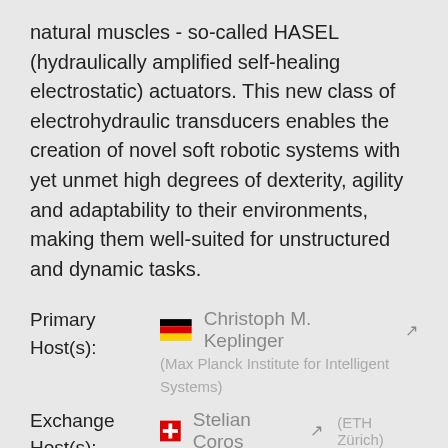natural muscles - so-called HASEL (hydraulically amplified self-healing electrostatic) actuators. This new class of electrohydraulic transducers enables the creation of novel soft robotic systems with yet unmet high degrees of dexterity, agility and adaptability to their environments, making them well-suited for unstructured and dynamic tasks.
Primary Host(s): Christoph M. Keplinger [external link] (Max Planck Institute for Intelligent Systems)
Exchange Host(s): Stelian Coros [external link] (ETH Zürich)